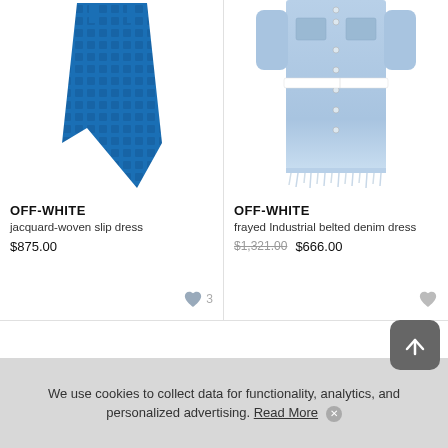[Figure (photo): Blue jacquard-woven slip dress on white background]
OFF-WHITE
jacquard-woven slip dress
$875.00
[Figure (photo): Light blue frayed industrial belted denim dress on white background]
OFF-WHITE
frayed Industrial belted denim dress
$1,321.00 $666.00
We use cookies to collect data for functionality, analytics, and personalized advertising. Read More